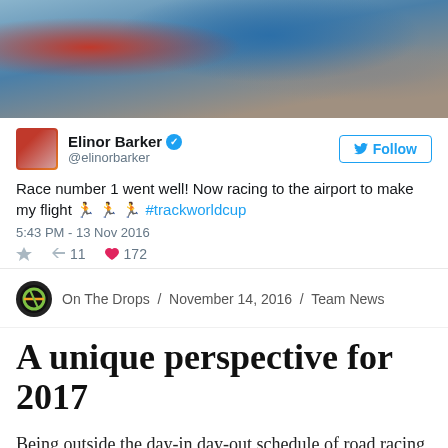[Figure (photo): Sports cycling photo showing athletes in racing gear, blue cycling suit visible, track cycling context]
Elinor Barker @elinorbarker — Race number 1 went well! Now racing to the airport to make my flight 🏃🏃🏃 #trackworldcup — 5:43 PM - 13 Nov 2016 — 11 retweets 172 likes
On The Drops / November 14, 2016 / Team News
A unique perspective for 2017
Being outside the day-in day-out schedule of road racing whilst supporting our Olympic stars has given us the chance to pinpoint exactly what we want to achieve in the coming seasons. Until now we have